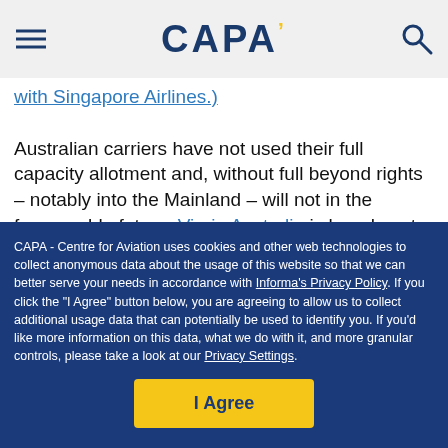CAPA
with Singapore Airlines.)
Australian carriers have not used their full capacity allotment and, without full beyond rights – notably into the Mainland – will not in the foreseeable future. Virgin Australia is largely out of the picture and Qantas is no longer interested in the traffic rights beyond Hong Kong it once was, such as to London. In
CAPA - Centre for Aviation uses cookies and other web technologies to collect anonymous data about the usage of this website so that we can better serve your needs in accordance with Informa's Privacy Policy. If you click the "I Agree" button below, you are agreeing to allow us to collect additional usage data that can potentially be used to identify you. If you'd like more information on this data, what we do with it, and more granular controls, please take a look at our Privacy Settings.